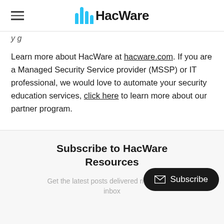HacWare
Learn more about HacWare at hacware.com. If you are a Managed Security Service provider (MSSP) or IT professional, we would love to automate your security education services, click here to learn more about our partner program.
Subscribe to HacWare Resources
Get the latest posts delivered right to your inbox